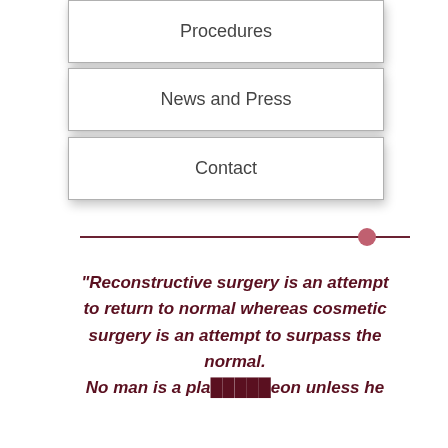Procedures
News and Press
Contact
"Reconstructive surgery is an attempt to return to normal whereas cosmetic surgery is an attempt to surpass the normal.

No man is a plastic surgeon unless he